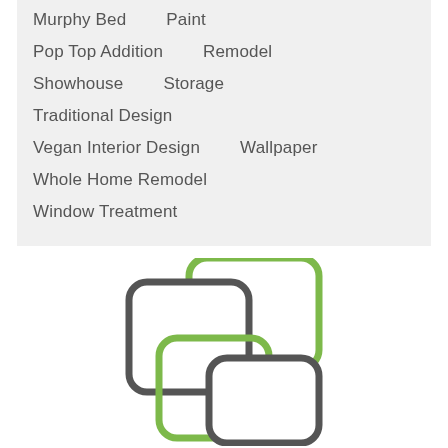Murphy Bed    Paint
Pop Top Addition    Remodel
Showhouse    Storage
Traditional Design
Vegan Interior Design    Wallpaper
Whole Home Remodel
Window Treatment
[Figure (logo): Overlapping rounded rectangles logo — two dark gray rounded rectangles and two green-outlined rounded rectangles arranged in an overlapping square pattern]